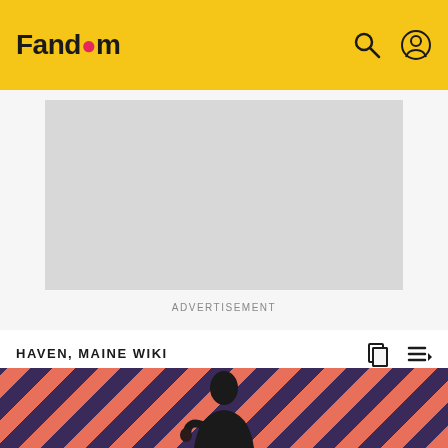Fandom
[Figure (other): Advertisement placeholder – gray rectangle]
ADVERTISEMENT
HAVEN, MAINE WIKI
Saul Goodwin
EDIT
[Figure (photo): Bottom portion showing a person against a diagonal pink/dark striped background]